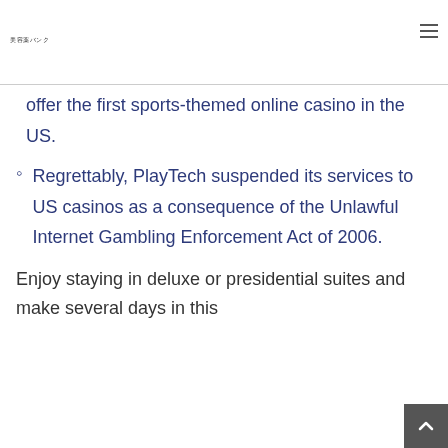美容薬バンク
offer the first sports-themed online casino in the US.
Regrettably, PlayTech suspended its services to US casinos as a consequence of the Unlawful Internet Gambling Enforcement Act of 2006.
Enjoy staying in deluxe or presidential suites and make several days in this